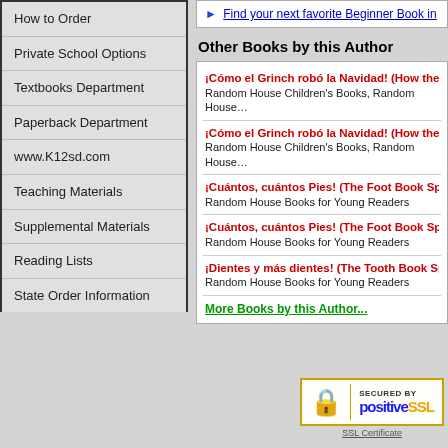How to Order
Private School Options
Textbooks Department
Paperback Department
www.K12sd.com
Teaching Materials
Supplemental Materials
Reading Lists
State Order Information
Find your next favorite Beginner Book in
Other Books by this Author
¡Cómo el Grinch robó la Navidad! (How the Gri...
Random House Children's Books, Random House
¡Cómo el Grinch robó la Navidad! (How the Gri...
Random House Children's Books, Random House
¡Cuántos, cuántos Pies! (The Foot Book Spanish...
Random House Books for Young Readers
¡Cuántos, cuántos Pies! (The Foot Book Spanish...
Random House Books for Young Readers
¡Dientes y más dientes! (The Tooth Book Spanis...
Random House Books for Young Readers
More Books by this Author...
[Figure (logo): Secured by PositiveSSL badge with padlock icon and SSL Certificate link]